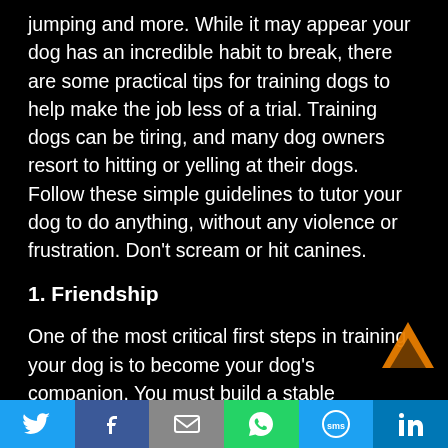jumping and more. While it may appear your dog has an incredible habit to break, there are some practical tips for training dogs to help make the job less of a trial. Training dogs can be tiring, and many dog owners resort to hitting or yelling at their dogs. Follow these simple guidelines to tutor your dog to do anything, without any violence or frustration. Don't scream or hit canines.
1. Friendship
One of the most critical first steps in training your dog is to become your dog's companion. You must build a stable relationship with him or her from the start. Puppies love approval and cuddles, much like human babies. Your harmonious behavior towards the dog will grow into a trusting relationship, which will make it more straightforward